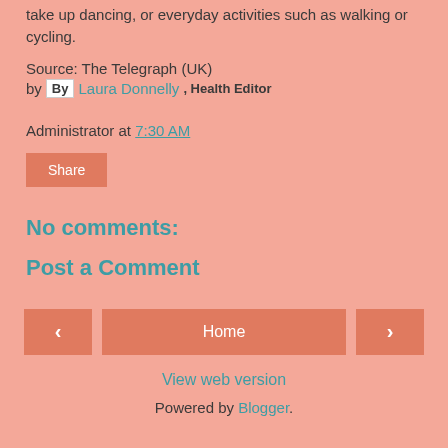take up dancing, or everyday activities such as walking or cycling.
Source: The Telegraph (UK)
by By Laura Donnelly, Health Editor
Administrator at 7:30 AM
Share
No comments:
Post a Comment
< Home > View web version Powered by Blogger.